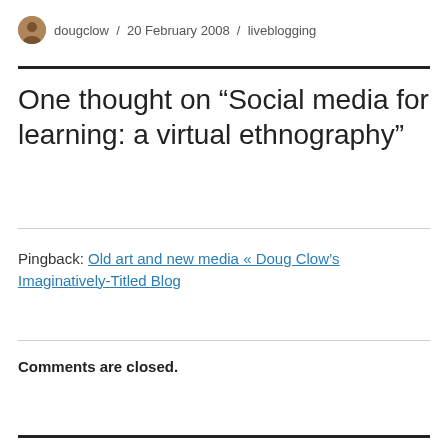dougclow / 20 February 2008 / liveblogging
One thought on “Social media for learning: a virtual ethnography”
Pingback: Old art and new media « Doug Clow’s Imaginatively-Titled Blog
Comments are closed.